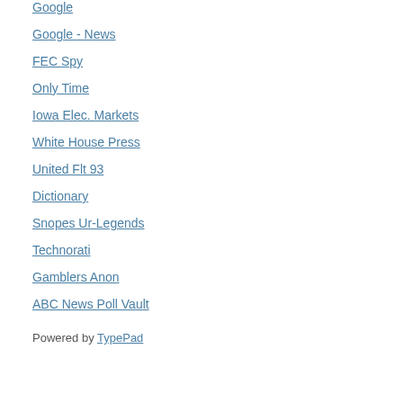Google
Google - News
FEC Spy
Only Time
Iowa Elec. Markets
White House Press
United Flt 93
Dictionary
Snopes Ur-Legends
Technorati
Gamblers Anon
ABC News Poll Vault
Powered by TypePad
Posted
[Figure (illustration): Teal/green circular geometric pattern resembling a nuclear or atomic symbol]
Enriched uranium bomb is lo... possibly be produced in Iran... all practical terms, undelivera... offensive warfare.
Nonsense. Pakistan's progra... weapons. They're a bit bulkie... Besides, one has to evaluate... Israel--dense population cent... poor nuke capacity will do it. ... crossed, it becomes very diffi... that can produce plutonium.
If you can't manufacture 1970... can you manufacture a subor...
Well, the obvious rejoinder is ... in 1945 (nor were our rockets... the hardest part of a nuke is s... it? Yes.
Poste...